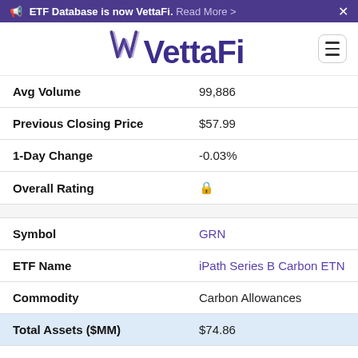ETF Database is now VettaFi. Read More >
[Figure (logo): VettaFi logo with stylized W and text VettaFi in purple]
| Field | Value |
| --- | --- |
| Avg Volume | 99,886 |
| Previous Closing Price | $57.99 |
| 1-Day Change | -0.03% |
| Overall Rating | 🔒 |
| Symbol | GRN |
| ETF Name | iPath Series B Carbon ETN |
| Commodity | Carbon Allowances |
| Total Assets ($MM) | $74.86 |
| YTD | 9.92% |
| Avg Volume | 24,070 |